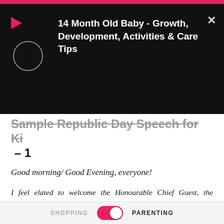[Figure (screenshot): App notification overlay on black background showing play icon, loading circle, and text '14 Month Old Baby - Growth, Development, Activities & Care Tips' with close X button]
Sample Republic Day Speech for Ki – 1
Good morning/ Good Evening, everyone!
I feel elated to welcome the Honourable Chief Guest, the Principal, our Beloved Teachers and my fellow students on this auspicious occasion, and thank the teachers for granting me this opportunity to speak. Today, we are gathered here to commemorate one of the most important days in the history of our great nation – The Republic Day.
SHOPPING   PARENTING